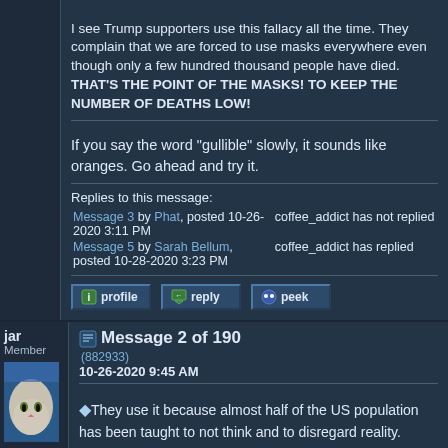I see Trump supporters use this fallacy all the time. They complain that we are forced to use masks everywhere even though only a few hundred thousand people have died. THAT'S THE POINT OF THE MASKS! TO KEEP THE NUMBER OF DEATHS LOW!
If you say the word "gullible" slowly, it sounds like oranges. Go ahead and try it.
Replies to this message:
Message 3 by Phat, posted 10-26-2020 3:11 PM — coffee_addict has not replied
Message 5 by Sarah Bellum, posted 10-28-2020 3:23 PM — coffee_addict has replied
jar
Member
Message 2 of 190
(882933)
10-26-2020 9:45 AM
They use it because almost half of the US population has been taught to not think and to disregard reality.
They use it because it works.